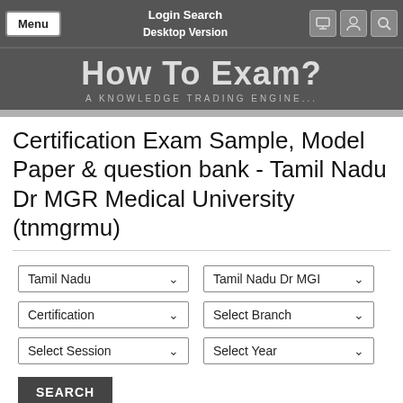Menu  Login Search Desktop Version
How To Exam?
A KNOWLEDGE TRADING ENGINE...
Certification Exam Sample, Model Paper & question bank - Tamil Nadu Dr MGR Medical University (tnmgrmu)
Tamil Nadu (dropdown)
Tamil Nadu Dr MGI (dropdown)
Certification (dropdown)
Select Branch (dropdown)
Select Session (dropdown)
Select Year (dropdown)
SEARCH